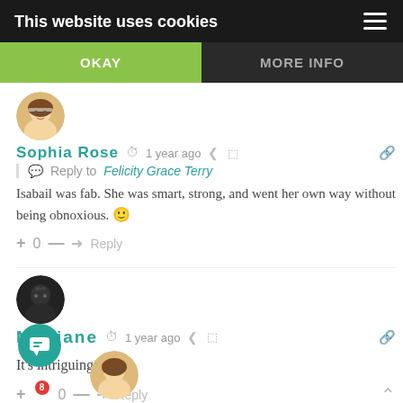This website uses cookies
OKAY
MORE INFO
Sophia Rose  1 year ago  Reply to Felicity Grace Terry
Isabail was fab. She was smart, strong, and went her own way without being obnoxious. 🙂
+ 0 —  Reply
Melliane  1 year ago
It's intriguing!
+8 0 —  Reply